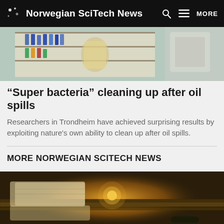Norwegian SciTech News
[Figure (photo): Laboratory setting with chemicals, vials, and materials on shelves]
“Super bacteria” cleaning up after oil spills
Researchers in Trondheim have achieved surprising results by exploiting nature's own ability to clean up after oil spills.
MORE NORWEGIAN SCITECH NEWS
[Figure (photo): Industrial scene with a worker in a hard hat near bright light and machinery]